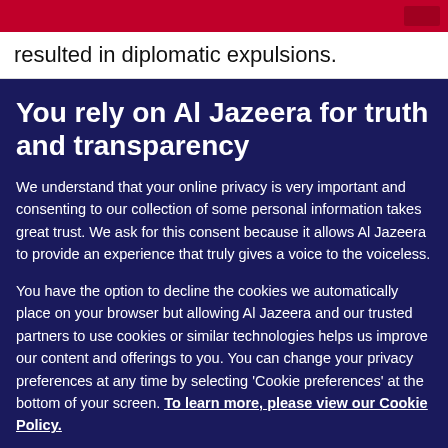resulted in diplomatic expulsions.
You rely on Al Jazeera for truth and transparency
We understand that your online privacy is very important and consenting to our collection of some personal information takes great trust. We ask for this consent because it allows Al Jazeera to provide an experience that truly gives a voice to the voiceless.
You have the option to decline the cookies we automatically place on your browser but allowing Al Jazeera and our trusted partners to use cookies or similar technologies helps us improve our content and offerings to you. You can change your privacy preferences at any time by selecting ‘Cookie preferences’ at the bottom of your screen. To learn more, please view our Cookie Policy.